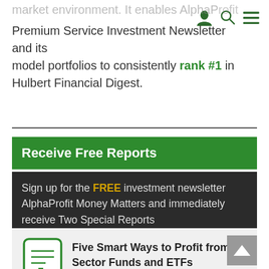[navigation icons: user, search, menu]
market environment. It enables AlphaProfit Premium Service Investment Newsletter and its model portfolios to consistently rank #1 in Hulbert Financial Digest.
Receive Free Reports
Sign up for the FREE investment newsletter AlphaProfit Money Matters and immediately receive Two Special Reports
Five Smart Ways to Profit from Sector Funds and ETFs